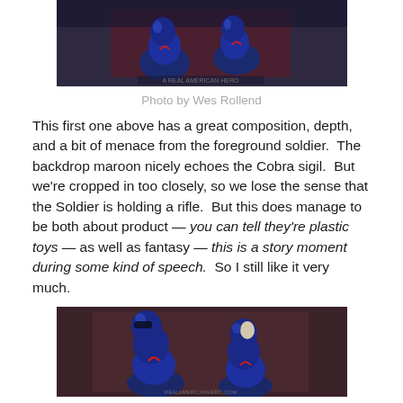[Figure (photo): Close-up photo of blue G.I. Joe toy soldier figurines against a dark maroon/brown background, top portion cropped showing upper bodies]
Photo by Wes Rollend
This first one above has a great composition, depth, and a bit of menace from the foreground soldier.  The backdrop maroon nicely echoes the Cobra sigil.  But we're cropped in too closely, so we lose the sense that the Soldier is holding a rifle.  But this does manage to be both about product — you can tell they're plastic toys — as well as fantasy — this is a story moment during some kind of speech.  So I still like it very much.
[Figure (photo): Close-up photo of blue G.I. Joe toy soldier figurines from a slightly different angle, showing two figures looking upward, against a maroon/brown background]